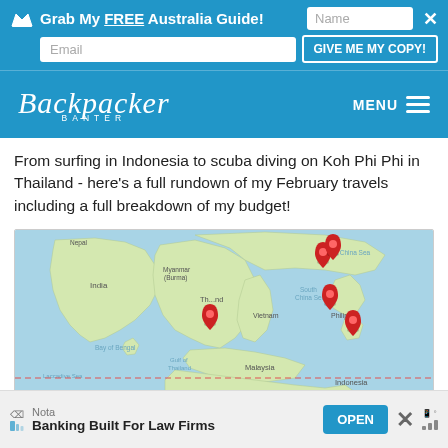[Figure (screenshot): Blue promotional banner: 'Grab My FREE Australia Guide!' with Name input, Email input, GIVE ME MY COPY! button, and close X]
[Figure (screenshot): Backpacker Banter website navigation bar with logo and MENU hamburger icon]
From surfing in Indonesia to scuba diving on Koh Phi Phi in Thailand - here's a full rundown of my February travels including a full breakdown of my budget!
[Figure (map): Google Maps showing Southeast Asia with red location pins on Thailand, Philippines, and other locations including East China Sea and South China Sea regions]
[Figure (screenshot): Advertisement banner: Nota - Banking Built For Law Firms with OPEN button and close X]